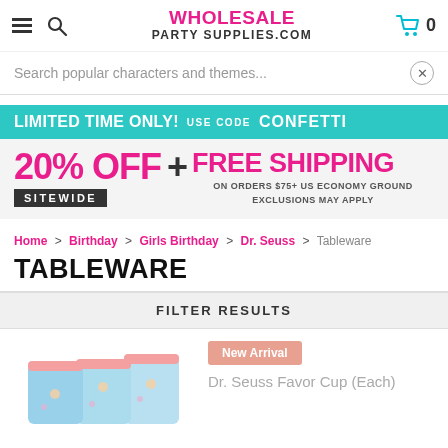WHOLESALE PARTY SUPPLIES.COM
Search popular characters and themes...
[Figure (infographic): Promotional banner: LIMITED TIME ONLY! USE CODE CONFETTI — 20% OFF + FREE SHIPPING SITEWIDE on orders $75+ US economy ground, exclusions may apply]
Home > Birthday > Girls Birthday > Dr. Seuss > Tableware
TABLEWARE
FILTER RESULTS
New Arrival
Dr. Seuss Favor Cup (Each)